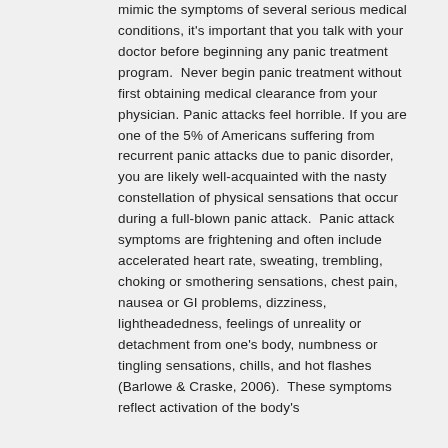mimic the symptoms of several serious medical conditions, it's important that you talk with your doctor before beginning any panic treatment program.  Never begin panic treatment without first obtaining medical clearance from your physician. Panic attacks feel horrible. If you are one of the 5% of Americans suffering from recurrent panic attacks due to panic disorder, you are likely well-acquainted with the nasty constellation of physical sensations that occur during a full-blown panic attack.  Panic attack symptoms are frightening and often include accelerated heart rate, sweating, trembling, choking or smothering sensations, chest pain, nausea or GI problems, dizziness, lightheadedness, feelings of unreality or detachment from one's body, numbness or tingling sensations, chills, and hot flashes (Barlowe & Craske, 2006).  These symptoms reflect activation of the body's